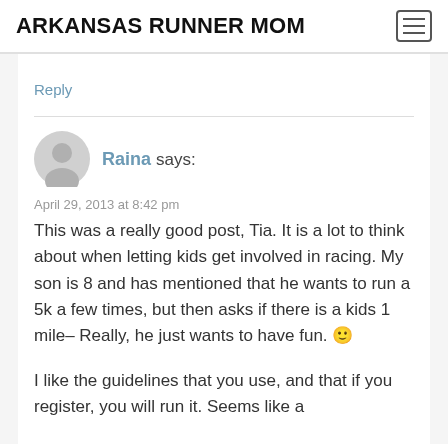ARKANSAS RUNNER MOM
Reply
Raina says:
April 29, 2013 at 8:42 pm
This was a really good post, Tia. It is a lot to think about when letting kids get involved in racing. My son is 8 and has mentioned that he wants to run a 5k a few times, but then asks if there is a kids 1 mile– Really, he just wants to have fun. 🙂
I like the guidelines that you use, and that if you register, you will run it. Seems like a